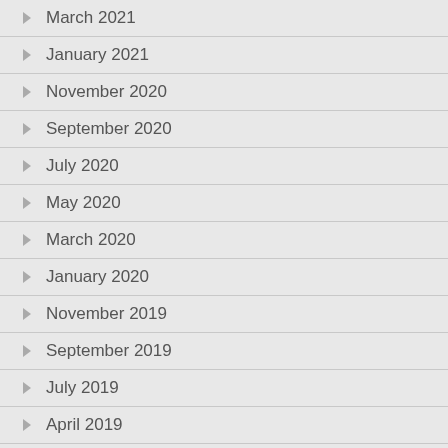March 2021
January 2021
November 2020
September 2020
July 2020
May 2020
March 2020
January 2020
November 2019
September 2019
July 2019
April 2019
February 2019